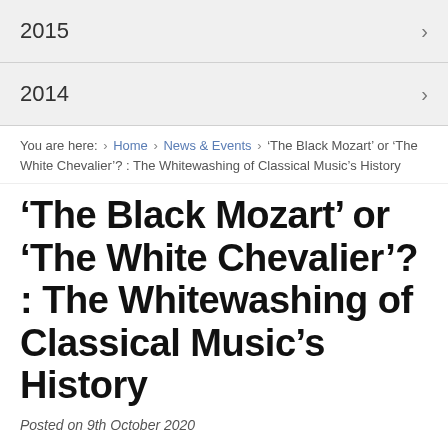2015
2014
You are here: > Home > News & Events > 'The Black Mozart' or 'The White Chevalier'? : The Whitewashing of Classical Music's History
'The Black Mozart' or 'The White Chevalier'? : The Whitewashing of Classical Music's History
Posted on 9th October 2020